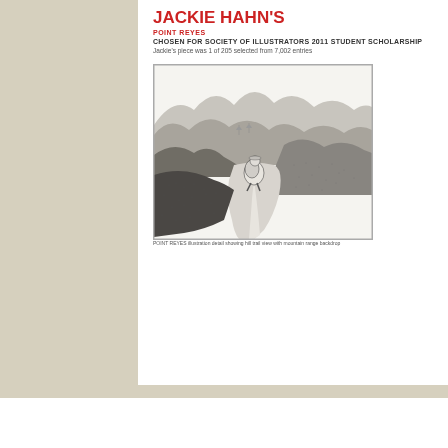JACKIE HAHN'S
POINT REYES
CHOSEN FOR SOCIETY OF ILLUSTRATORS 2011 STUDENT SCHOLARSHIP
Jackie's piece was 1 of 205 selected from 7,002 entries
[Figure (illustration): Black and white detailed pencil illustration of a hiker with a backpack walking along a trail through rolling hills and mountains, viewed from above and behind. The landscape shows valleys, distant mountain ranges, and scattered trees rendered in fine stippling and line work.]
POINT REYES illustration detail showing hill trail view with mountain range backdrop
Student Showcase: